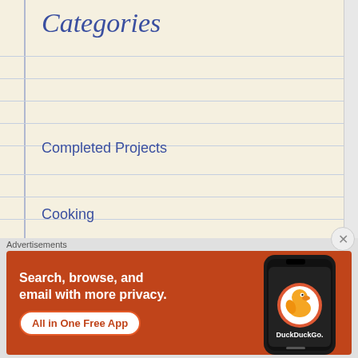Categories
Completed Projects
Cooking
Crochet
Current Projects
Fiber Events
Gardening
Knit Ramblings
Knit... (partially visible)
Advertisements
[Figure (screenshot): DuckDuckGo advertisement banner: orange background with text 'Search, browse, and email with more privacy. All in One Free App' and a phone image showing the DuckDuckGo app logo]